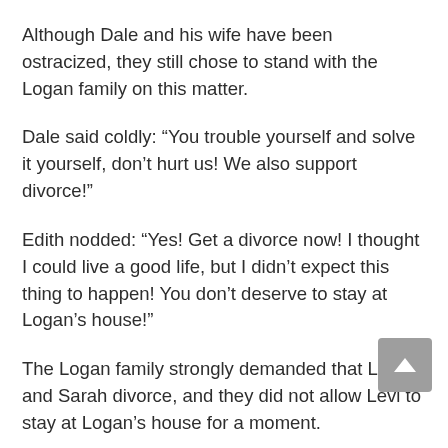Although Dale and his wife have been ostracized, they still chose to stand with the Logan family on this matter.
Dale said coldly: “You trouble yourself and solve it yourself, don’t hurt us! We also support divorce!”
Edith nodded: “Yes! Get a divorce now! I thought I could live a good life, but I didn’t expect this thing to happen! You don’t deserve to stay at Logan’s house!”
The Logan family strongly demanded that Levi and Sarah divorce, and they did not allow Levi to stay at Logan’s house for a moment.
For these people’s views, Levi didn’t care at all...